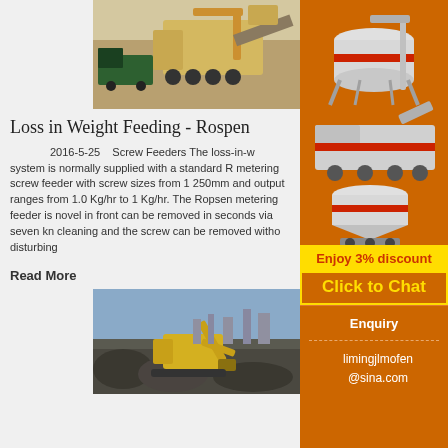[Figure (photo): Aerial view of large mobile crushing/mining equipment on a sandy excavation site with trucks nearby]
Loss in Weight Feeding - Rospen
2016-5-25    Screw Feeders The loss-in-w system is normally supplied with a standard R metering screw feeder with screw sizes from 1 250mm and output ranges from 1.0 Kg/hr to 1 Kg/hr. The Ropsen metering feeder is novel in front can be removed in seconds via seven kn cleaning and the screw can be removed witho disturbing
Read More
[Figure (photo): Yellow excavator working in a rocky quarry or mining site]
[Figure (photo): Sidebar advertisement showing mining/crushing machinery equipment]
Enjoy 3% discount
Click to Chat
Enquiry
limingjlmofen @sina.com